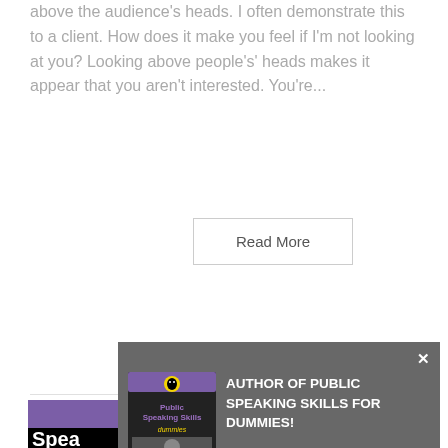above the audience's heads. I often demonstrate this to a client. How does it make you feel if I'm not looking at you? Looking above people's' heads makes it appear that you aren't interested. You're...
Read More
[Figure (screenshot): A screenshot of a webpage section showing a 'For Dummies' book advertisement banner. The top portion has a purple banner with 'LEARNING MADE EASY' text and the Dummies character logo. Below is a black background section with large white text beginning with 'P' and 'Spea'. A popup overlay in gray shows the book cover of 'Public Speaking Skills for Dummies' alongside text 'AUTHOR OF PUBLIC SPEAKING SKILLS FOR DUMMIES!' with an X close button.]